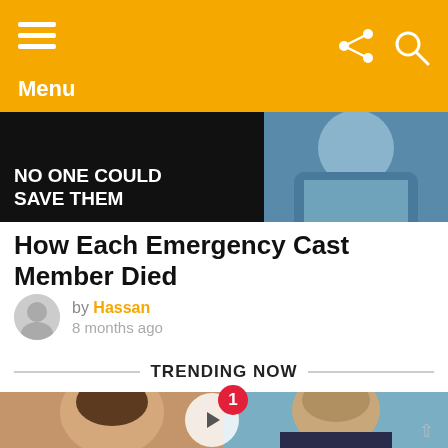Menu
[Figure (photo): Hero image split: left side dark background with bold white text 'NO ONE COULD SAVE THEM', right side shows a person in a blue shirt]
How Each Emergency Cast Member Died
by Hassan
8 months ago
TRENDING NOW
[Figure (photo): Trending now image showing two people side by side with a red badge '1' and a play button overlay]